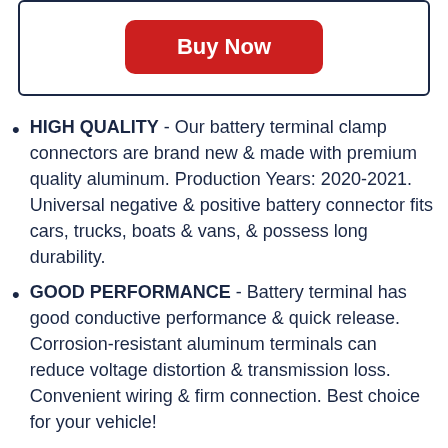[Figure (other): A red 'Buy Now' button inside a dark navy bordered box]
HIGH QUALITY - Our battery terminal clamp connectors are brand new & made with premium quality aluminum. Production Years: 2020-2021. Universal negative & positive battery connector fits cars, trucks, boats & vans, & possess long durability.
GOOD PERFORMANCE - Battery terminal has good conductive performance & quick release. Corrosion-resistant aluminum terminals can reduce voltage distortion & transmission loss. Convenient wiring & firm connection. Best choice for your vehicle!
KIT INCLUDES - 1 pair of negative (black)